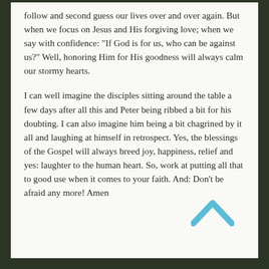follow and second guess our lives over and over again. But when we focus on Jesus and His forgiving love; when we say with confidence: “If God is for us, who can be against us?” Well, honoring Him for His goodness will always calm our stormy hearts.
I can well imagine the disciples sitting around the table a few days after all this and Peter being ribbed a bit for his doubting. I can also imagine him being a bit chagrined by it all and laughing at himself in retrospect. Yes, the blessings of the Gospel will always breed joy, happiness, relief and yes: laughter to the human heart. So, work at putting all that to good use when it comes to your faith. And: Don’t be afraid any more! Amen
[Figure (other): A teal/blue upward-pointing chevron arrow icon]